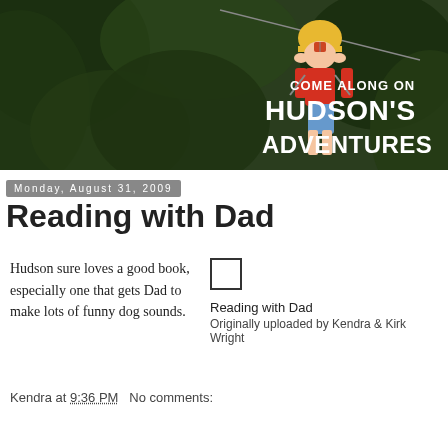[Figure (photo): Child zip-lining through jungle with helmet and harness. Text overlay reads 'COME ALONG ON HUDSON'S ADVENTURES' in white bold text on right side.]
Monday, August 31, 2009
Reading with Dad
Hudson sure loves a good book, especially one that gets Dad to make lots of funny dog sounds.
[Figure (photo): Small image placeholder checkbox icon for Reading with Dad photo]
Reading with Dad
Originally uploaded by Kendra & Kirk Wright
Kendra at 9:36 PM   No comments:
Share